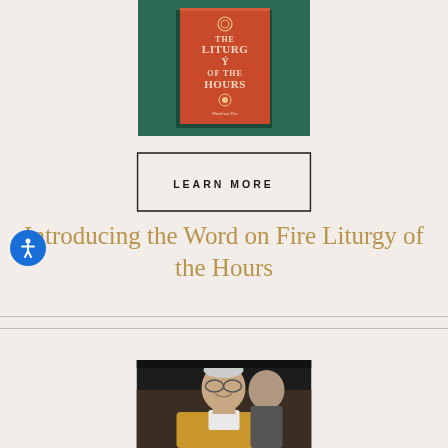[Figure (photo): Book cover of 'The Liturgy of the Hours' on a dark green background]
[Figure (other): LEARN MORE button with black border]
Introducing the Word on Fire Liturgy of the Hours
[Figure (photo): Photo of a smiling priest or bishop wearing glasses and a gold vestment]